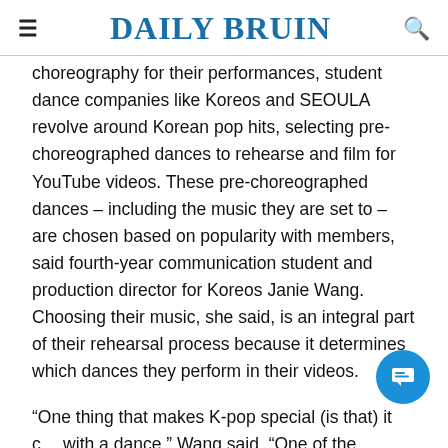DAILY BRUIN
choreography for their performances, student dance companies like Koreos and SEOULA revolve around Korean pop hits, selecting pre-choreographed dances to rehearse and film for YouTube videos. These pre-choreographed dances – including the music they are set to – are chosen based on popularity with members, said fourth-year communication student and production director for Koreos Janie Wang. Choosing their music, she said, is an integral part of their rehearsal process because it determines which dances they perform in their videos.
“One thing that makes K-pop special (is that) it c… with a dance,” Wang said. “One of the biggest highlights of K-pop, in my opinion, is the dancing. The